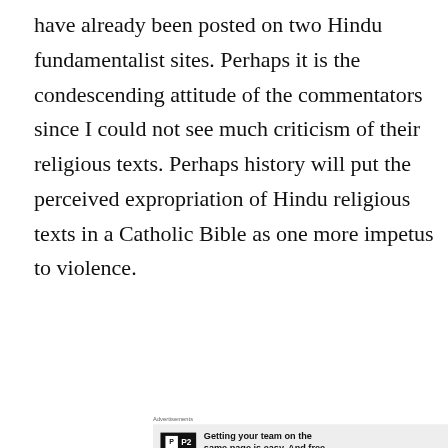have already been posted on two Hindu fundamentalist sites. Perhaps it is the condescending attitude of the commentators since I could not see much criticism of their religious texts. Perhaps history will put the perceived expropriation of Hindu religious texts in a Catholic Bible as one more impetus to violence.
[Figure (other): Advertisement block: P2 logo with tagline 'Getting your team on the same page is easy. And free.' Label 'Advertisements' above. 'REPORT THIS AD' link below.]
At the very same time the commentary can perhaps be
Privacy & Cookies: This site uses cookies. By continuing to use this website, you agree to their use.
To find out more, including how to control cookies, see here: Cookie Policy